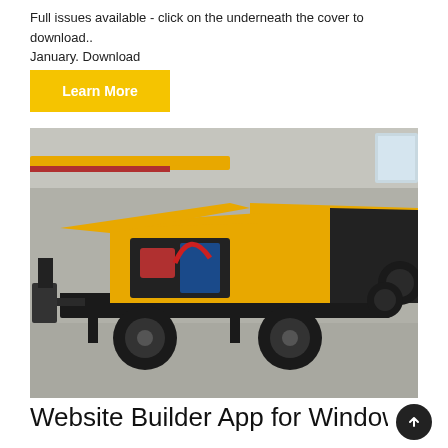Full issues available - click on the underneath the cover to download..
January. Download
Learn More
[Figure (photo): A yellow trailer-mounted concrete pump machine with open hood panels showing engine, photographed in an industrial warehouse/factory setting.]
Website Builder App for Windows and